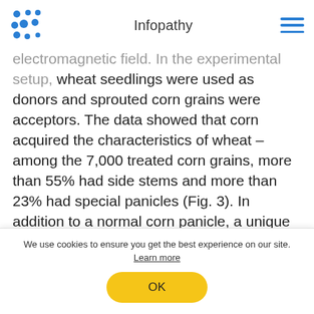Infopathy
electromagnetic field. In the experimental setup, wheat seedlings were used as donors and sprouted corn grains were acceptors. The data showed that corn acquired the characteristics of wheat – among the 7,000 treated corn grains, more than 55% had side stems and more than 23% had special panicles (Fig. 3). In addition to a normal corn panicle, a unique spike was formed with grains resembling both corn and wheat. Furthermore, the treated corn was
We use cookies to ensure you get the best experience on our site. Learn more
OK